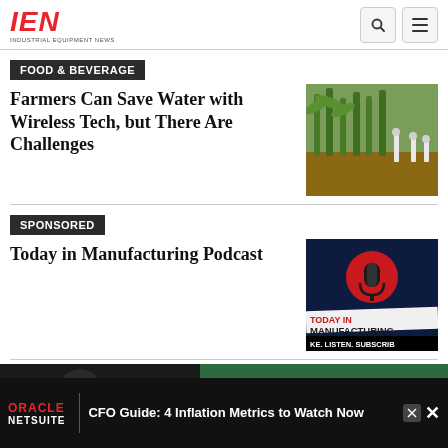IEN - Industrial Equipment News
FOOD & BEVERAGE
Farmers Can Save Water with Wireless Tech, but There Are Challenges
[Figure (photo): Agricultural field with irrigation sensors in soil among green crops]
SPONSORED
Today in Manufacturing Podcast
[Figure (photo): Today in Manufacturing podcast logo with microphone icon and text 'MAKE. LISTEN. SUBSCRIBE']
[Figure (photo): Bottom strip showing dark left panel and green right panel]
[Figure (infographic): Oracle NetSuite advertisement: CFO Guide: 4 Inflation Metrics to Watch Now]